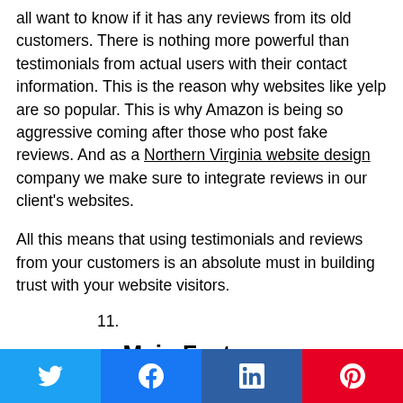all want to know if it has any reviews from its old customers. There is nothing more powerful than testimonials from actual users with their contact information. This is the reason why websites like yelp are so popular. This is why Amazon is being so aggressive coming after those who post fake reviews. And as a Northern Virginia website design company we make sure to integrate reviews in our client's websites.
All this means that using testimonials and reviews from your customers is an absolute must in building trust with your website visitors.
11.
Main Features
[Figure (other): Social share buttons row: Twitter (blue), Facebook (blue), LinkedIn (dark blue), Pinterest (red)]